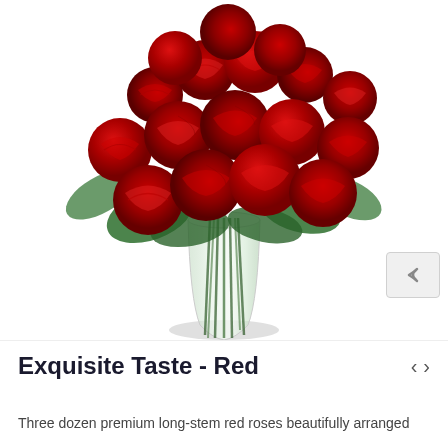[Figure (photo): A large bouquet of three dozen premium long-stem red roses arranged in a clear glass vase, with green foliage and small white accent flowers visible between the roses. The roses are in full bloom, densely packed, viewed from a slight angle on a white background.]
Exquisite Taste - Red
Three dozen premium long-stem red roses beautifully arranged